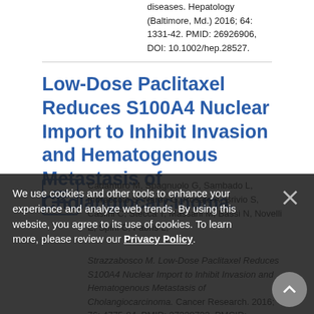diseases. Hepatology (Baltimore, Md.) 2016; 64: 1331-42. PMID: 26926906, DOI: 10.1002/hep.28527.
Low-Dose Paclitaxel Reduces S100A4 Nuclear Import to Inhibit Invasion and Hematogenous Metastasis of Cholangiocarcinoma.
Cadamuro M, Spagnuolo G, Sambado L, Indraccolo S, Nardo G, Rosato A, Brivio S, Caslini C, Stecca T, Massani M, Bassi N, Novelli E, Spirli C, Fabris L, Strazzabosco M. Low-Dose Paclitaxel Reduces S100A4 Nuclear Import to Inhibit Invasion and Hematogenous Metastasis of Cholangiocarcinoma. Cancer Research. 2016; 76: 4775-84. PMID: 27328733. PMCID: PMC4987167. DOI: 10.1158/0008-5472.CAN-16-0188.
We use cookies and other tools to enhance your experience and analyze web trends. By using this website, you agree to its use of cookies. To learn more, please review our Privacy Policy.